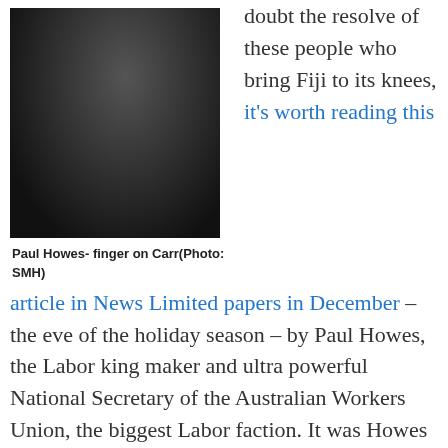[Figure (photo): Portrait photo of Paul Howes, a man in a dark suit and striped tie, pointing his finger, speaking or gesturing, against a dark background.]
Paul Howes- finger on Carr(Photo: SMH)
doubt the resolve of these people who bring Fiji to its knees, it's worth reading this article in News Limited papers in December – the eve of the holiday season – by Paul Howes, the Labor king maker and ultra powerful National Secretary of the Australian Workers Union, the biggest Labor faction. It was Howes – who also happens to be Vice President of the ACTU – who ended Kevin Rudd's tenure as Australian prime minister 21 months ago, famously appearing on